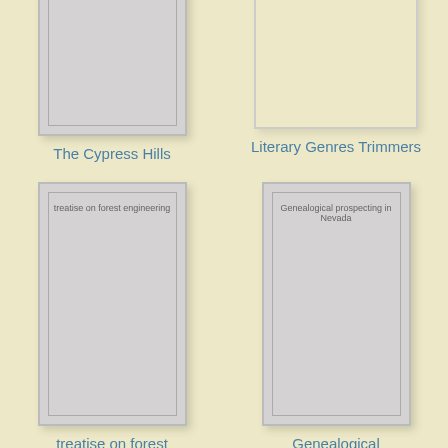[Figure (illustration): Book cover thumbnail for 'The Cypress Hills', partially cropped at top, gray card with inner border and title text]
The Cypress Hills
[Figure (illustration): Book cover thumbnail for 'Literary Genres Trimmers', partially cropped at top, cream/beige card]
Literary Genres Trimmers
[Figure (illustration): Book cover thumbnail for 'treatise on forest engineering', gray card with inner border and title text]
treatise on forest
[Figure (illustration): Book cover thumbnail for 'Genealogical prospecting in Nevada', gray card with inner border and title text]
Genealogical